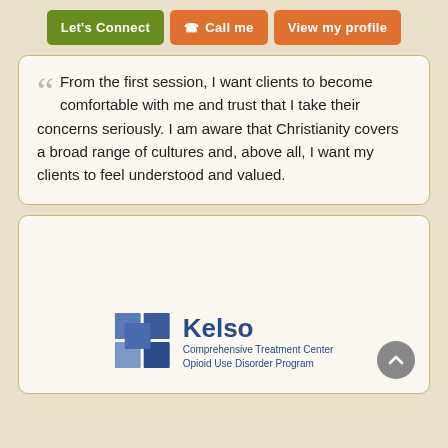[Figure (screenshot): Three buttons: 'Let's Connect' (green), 'Call me' (orange, with phone icon), 'View my profile' (orange)]
From the first session, I want clients to become comfortable with me and trust that I take their concerns seriously. I am aware that Christianity covers a broad range of cultures and, above all, I want my clients to feel understood and valued.
[Figure (logo): Kelso Comprehensive Treatment Center Opioid Use Disorder Program logo with blue checkered square icon]